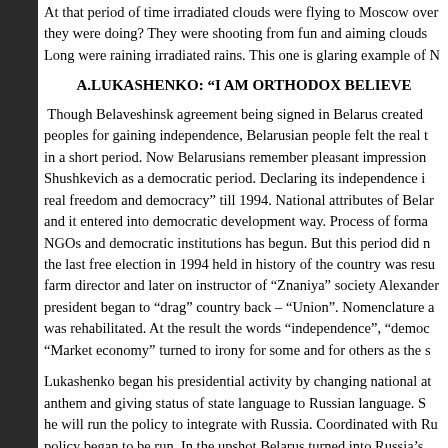At that period of time irradiated clouds were flying to Moscow over they were doing? They were shooting from fun and aiming clouds Long were raining irradiated rains. This one is glaring example of N
A.LUKASHENKO: “I AM ORTHODOX BELIEVE
Though Belaveshinsk agreement being signed in Belarus created peoples for gaining independence, Belarusian people felt the real t in a short period. Now Belarusians remember pleasant impression Shushkevich as a democratic period. Declaring its independence i real freedom and democracy” till 1994. National attributes of Belar and it entered into democratic development way. Process of forma NGOs and democratic institutions has begun. But this period did n the last free election in 1994 held in history of the country was resu farm director and later on instructor of “Znaniya” society Alexander president began to “drag” country back – “Union”. Nomenclature a was rehabilitated. At the result the words “independence”, “democ “Market economy” turned to irony for some and for others as the s
Lukashenko began his presidential activity by changing national at anthem and giving status of state language to Russian language. S he will run the policy to integrate with Russia. Coordinated with Ru policy began to be run. In the upshot Belarus turned into Russia’s mark some hard discords. It is enough just to pay attention to the f